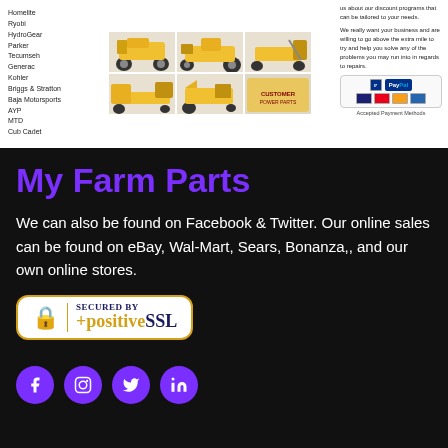Homelite
Ryobi
HydroGear
Parker
Tecumseh
Generac
Kohler
Briggs & Stratton
Baja Motorsports
AYP
MTD
Cub Cadet
[Figure (photo): Grid of yellow outdoor power equipment products: snow blowers, riding mowers, log splitters, tillers, chainsaws, and other farm/lawn equipment]
us about our discount programs that can be tailored to your needs.
We really want your business and are willing to go above the extra mile to try and help you solve any of the problems you may run into in regards to repairs.
[Figure (logo): PayPal accepted payment methods badge with credit card icons (Visa, MC, etc.)]
Accepted Payment Methods
My Farm Parts
We can also be found on Facebook & Twitter. Our online sales can be found on eBay, Wal-Mart, Sears, Bonanza,, and our own online stores.
[Figure (logo): Secured by positiveSSL badge — white rounded rectangle with gold border, lock icon, and positiveSSL text]
[Figure (logo): Social media icons row: Facebook, Instagram, Twitter, LinkedIn — purple circles with white icons]